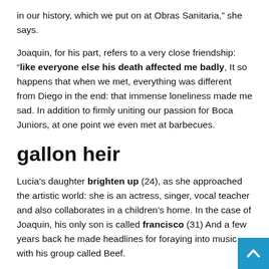in our history, which we put on at Obras Sanitaria,” she says.
Joaquin, for his part, refers to a very close friendship: “like everyone else his death affected me badly, It so happens that when we met, everything was different from Diego in the end: that immense loneliness made me sad. In addition to firmly uniting our passion for Boca Juniors, at one point we even met at barbecues.
gallon heir
Lucia’s daughter brighten up (24), as she approached the artistic world: she is an actress, singer, vocal teacher and also collaborates in a children’s home. In the case of Joaquin, his only son is called francisco (31) And a few years back he made headlines for foraying into music with his group called Beef.